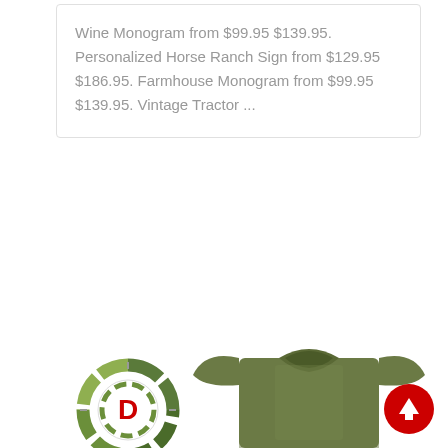Wine Monogram from $99.95 $139.95. Personalized Horse Ranch Sign from $129.95 $186.95. Farmhouse Monogram from $99.95 $139.95. Vintage Tractor ...
[Figure (logo): Deekon brand logo: circular camouflage-patterned emblem with red D letter inside, and DEEKON text in bold red below]
[Figure (photo): Olive green military-style crew neck t-shirt on white background, no model shown from neck down]